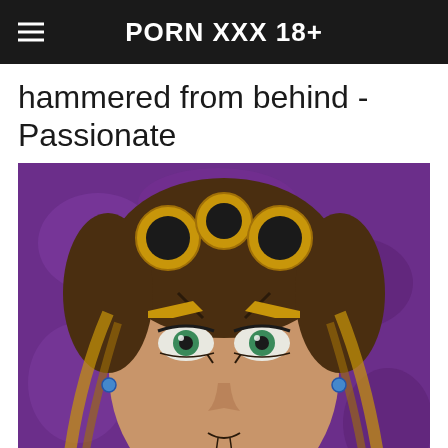PORN XXX 18+
hammered from behind - Passionate
[Figure (illustration): Anime character close-up face with golden hair accessories, green eyes, dark skin, and blue earrings against a purple background. Character appears to be from JoJo's Bizarre Adventure.]